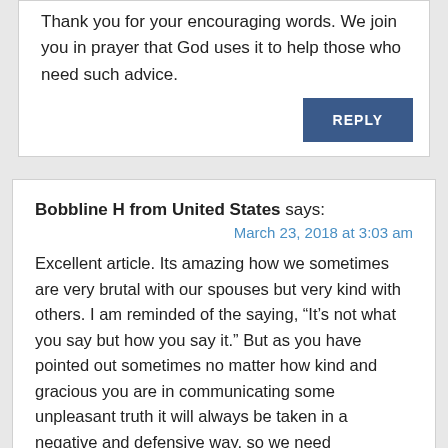Thank you for your encouraging words. We join you in prayer that God uses it to help those who need such advice.
REPLY
Bobbline H from United States says:
March 23, 2018 at 3:03 am
Excellent article. Its amazing how we sometimes are very brutal with our spouses but very kind with others. I am reminded of the saying, “It’s not what you say but how you say it.” But as you have pointed out sometimes no matter how kind and gracious you are in communicating some unpleasant truth it will always be taken in a negative and defensive way, so we need